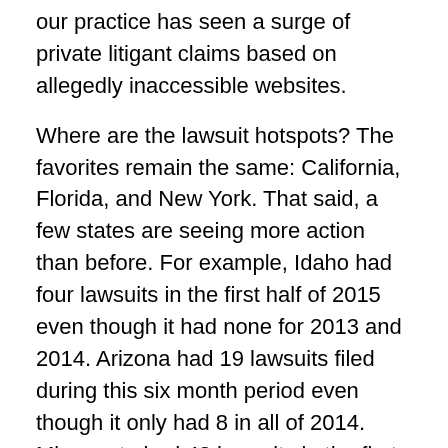our practice has seen a surge of private litigant claims based on allegedly inaccessible websites.
Where are the lawsuit hotspots?  The favorites remain the same:  California, Florida, and New York.  That said, a few states are seeing more action than before.  For example, Idaho had four lawsuits in the first half of 2015 even though it had none for 2013 and 2014.  Arizona had 19 lawsuits filed during this six month period even though it only had 8 in all of 2014.  Minnesota had 42 lawsuits in the first six months of 2015 as compared to the 14 it had in all of 2014.  Wyoming, Dakota, Montana, and Nebraska continue to be ADA Title III lawsuit-free.
We’ll keep tracking the filings and update our findings for all of 2015 in January 2016.